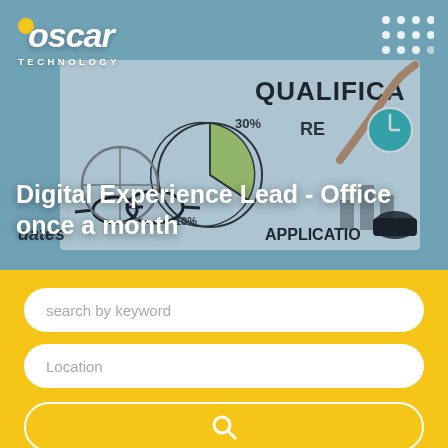[Figure (photo): Hero background photo showing a whiteboard with handwritten business/strategy diagrams, charts (pie chart, bar chart), words like QUALIFICATIONS, RE..., APPLICATION, hands pointing at the board, a coffee cup, and glasses. Blue-toned photo overlay.]
Digital Experience Lead - Office once a month
search by keyword
Location
[Figure (other): Search button with magnifying glass icon]